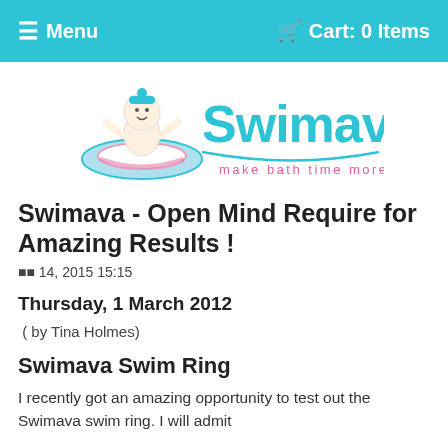☰ Menu    🛒 Cart: 0 Items
[Figure (logo): Swimava logo with baby in float ring and tagline 'make bath time more than fun']
Swimava - Open Mind Require for Amazing Results !
월 14, 2015 15:15
Thursday, 1 March 2012
( by Tina Holmes)
Swimava Swim Ring
I recently got an amazing opportunity to test out the Swimava swim ring. I will admit